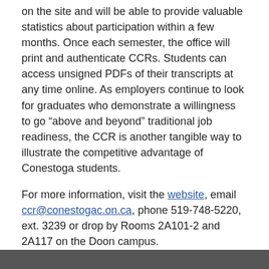on the site and will be able to provide valuable statistics about participation within a few months. Once each semester, the office will print and authenticate CCRs. Students can access unsigned PDFs of their transcripts at any time online. As employers continue to look for graduates who demonstrate a willingness to go “above and beyond” traditional job readiness, the CCR is another tangible way to illustrate the competitive advantage of Conestoga students.
For more information, visit the website, email ccr@conestogac.on.ca, phone 519-748-5220, ext. 3239 or drop by Rooms 2A101-2 and 2A117 on the Doon campus.
Posted on September 12, 2014 10:07 AM in Campus News | Permalink